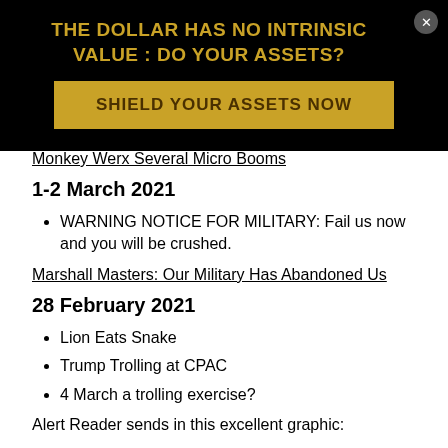[Figure (infographic): Black advertisement banner with gold text reading 'THE DOLLAR HAS NO INTRINSIC VALUE : DO YOUR ASSETS?' and a gold button 'SHIELD YOUR ASSETS NOW' with a close button (x) in top right.]
Monkey Werx Several Micro Booms
1-2 March 2021
WARNING NOTICE FOR MILITARY: Fail us now and you will be crushed.
Marshall Masters: Our Military Has Abandoned Us
28 February 2021
Lion Eats Snake
Trump Trolling at CPAC
4 March a trolling exercise?
Alert Reader sends in this excellent graphic: